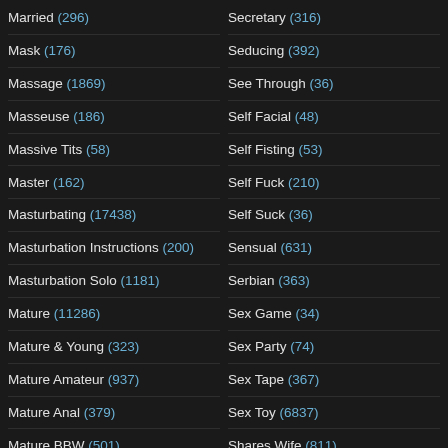Married (296)
Mask (176)
Massage (1869)
Masseuse (186)
Massive Tits (58)
Master (162)
Masturbating (17438)
Masturbation Instructions (200)
Masturbation Solo (1181)
Mature (11286)
Mature & Young (323)
Mature Amateur (937)
Mature Anal (379)
Mature BBW (501)
Mature Gangbang (42)
Mature Handjob (62)
Secretary (316)
Seducing (392)
See Through (36)
Self Facial (48)
Self Fisting (53)
Self Fuck (210)
Self Suck (36)
Sensual (631)
Serbian (363)
Sex Game (34)
Sex Party (74)
Sex Tape (367)
Sex Toy (6837)
Shares Wife (811)
Sharing (1400)
Shaved (2419)